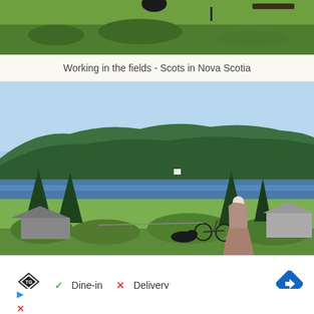[Figure (photo): Top portion of a photo showing green fields with people working - Scots in Nova Scotia scene, partially cropped at top]
Working in the fields - Scots in Nova Scotia
[Figure (photo): A person in period dress (back to camera) standing and looking toward a forested hillside and blue water/lake, with dark evergreen trees and rooftops visible in foreground]
[Figure (screenshot): Advertisement banner: TopGolf logo with checkmark Dine-in and X Delivery icons, navigation arrow diamond icon, and small play/close buttons below]